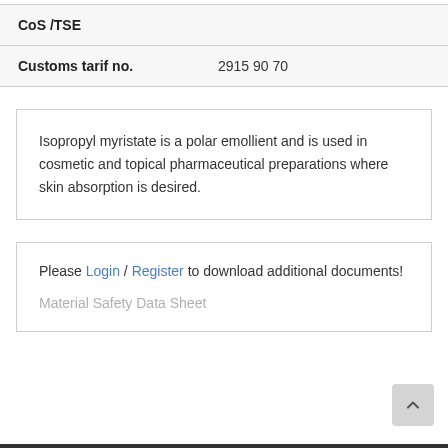| CoS /TSE |  |
| Customs tarif no. | 2915 90 70 |
Isopropyl myristate is a polar emollient and is used in cosmetic and topical pharmaceutical preparations where skin absorption is desired.
Please Login / Register to download additional documents! Material Safety Data Sheet